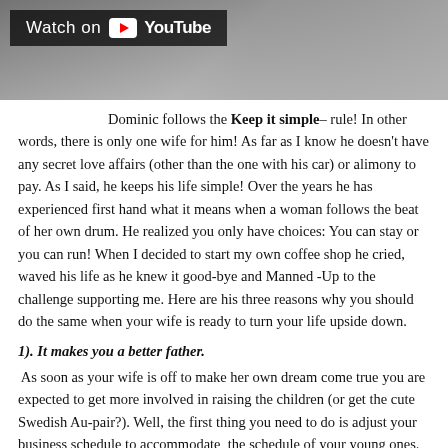[Figure (screenshot): YouTube video thumbnail with 'Watch on YouTube' overlay button on a dark background]
Dominic follows the Keep it simple– rule! In other words, there is only one wife for him! As far as I know he doesn't have any secret love affairs (other than the one with his car) or alimony to pay. As I said, he keeps his life simple! Over the years he has experienced first hand what it means when a woman follows the beat of her own drum. He realized you only have choices: You can stay or you can run! When I decided to start my own coffee shop he cried, waved his life as he knew it good-bye and Manned -Up to the challenge supporting me. Here are his three reasons why you should do the same when your wife is ready to turn your life upside down.
1). It makes you a better father.
As soon as your wife is off to make her own dream come true you are expected to get more involved in raising the children (or get the cute Swedish Au-pair?). Well, the first thing you need to do is adjust your business schedule to accommodate  the schedule of your young ones. This may take some time and in the process of doing so you might forget to pick up one of the kids from their activities. Not to worry, this happens to the best